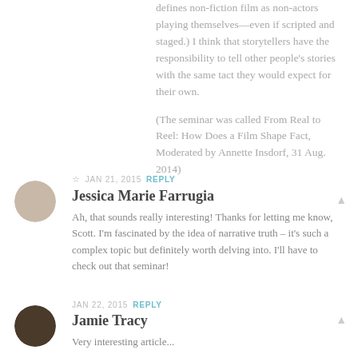defines non-fiction film as non-actors playing themselves—even if scripted and staged.) I think that storytellers have the responsibility to tell other people's stories with the same tact they would expect for their own.

(The seminar was called From Real to Reel: How Does a Film Shape Fact, Moderated by Annette Insdorf, 31 Aug. 2014)
☆ JAN 21, 2015 REPLY
Jessica Marie Farrugia
Ah, that sounds really interesting! Thanks for letting me know, Scott. I'm fascinated by the idea of narrative truth – it's such a complex topic but definitely worth delving into. I'll have to check out that seminar!
JAN 22, 2015 REPLY
Jamie Tracy
Very interesting article...